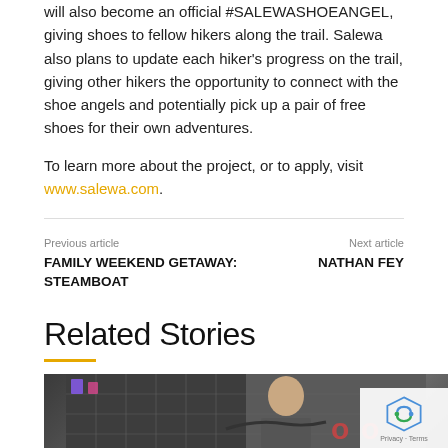will also become an official #SALEWASHOEANGEL, giving shoes to fellow hikers along the trail. Salewa also plans to update each hiker's progress on the trail, giving other hikers the opportunity to connect with the shoe angels and potentially pick up a pair of free shoes for their own adventures.
To learn more about the project, or to apply, visit www.salewa.com.
Previous article
FAMILY WEEKEND GETAWAY: STEAMBOAT

Next article
NATHAN FEY
Related Stories
[Figure (photo): Photo of a person on a bicycle in what appears to be a sports or bike shop, with a reCAPTCHA widget overlay in the bottom right corner.]